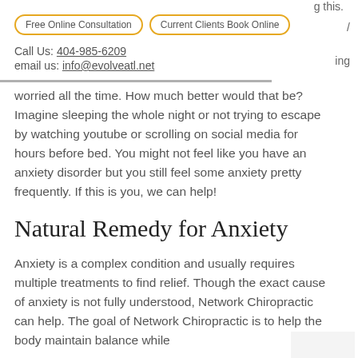g this.
Free Online Consultation   Current Clients Book Online
/
Call Us: 404-985-6209
email us: info@evolveatl.net
ing
worried all the time. How much better would that be? Imagine sleeping the whole night or not trying to escape by watching youtube or scrolling on social media for hours before bed. You might not feel like you have an anxiety disorder but you still feel some anxiety pretty frequently. If this is you, we can help!
Natural Remedy for Anxiety
Anxiety is a complex condition and usually requires multiple treatments to find relief. Though the exact cause of anxiety is not fully understood, Network Chiropractic can help. The goal of Network Chiropractic is to help the body maintain balance while